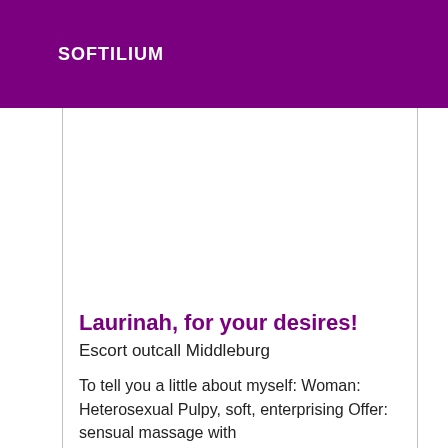SOFTILIUM
Laurinah, for your desires!
Escort outcall Middleburg
To tell you a little about myself: Woman: Heterosexual Pulpy, soft, enterprising Offer: sensual massage with